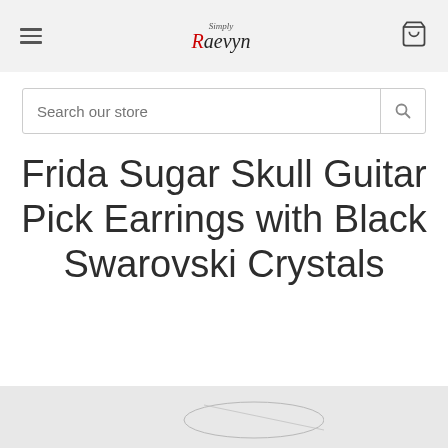Simply Raevyn — navigation header with hamburger menu and cart icon
Search our store
Frida Sugar Skull Guitar Pick Earrings with Black Swarovski Crystals
SimplyRaevyn
$8.00
[Figure (photo): Partial view of product photo at bottom of page, light grey background]